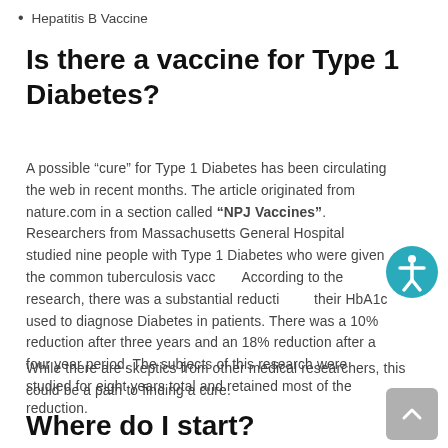Hepatitis B Vaccine
Is there a vaccine for Type 1 Diabetes?
A possible “cure” for Type 1 Diabetes has been circulating the web in recent months. The article originated from nature.com in a section called “NPJ Vaccines”. Researchers from Massachusetts General Hospital studied nine people with Type 1 Diabetes who were given the common tuberculosis vaccine. According to the research, there was a substantial reduction in their HbA1c used to diagnose Diabetes in patients. There was a 10% reduction after three years and an 18% reduction after a four year period. The subjects of this research were studied for eight years total and retained most of the reduction.
While there are skeptics from other medical researchers, this could be a path to finding a cure.
Where do I start?